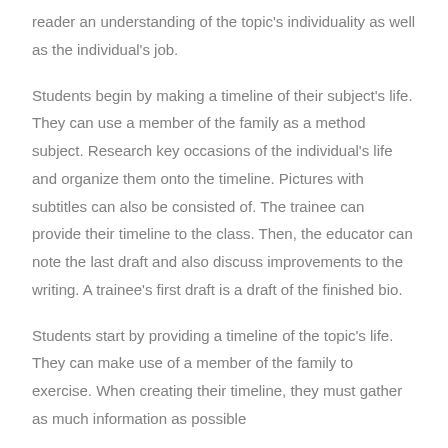reader an understanding of the topic's individuality as well as the individual's job.
Students begin by making a timeline of their subject's life. They can use a member of the family as a method subject. Research key occasions of the individual's life and organize them onto the timeline. Pictures with subtitles can also be consisted of. The trainee can provide their timeline to the class. Then, the educator can note the last draft and also discuss improvements to the writing. A trainee's first draft is a draft of the finished bio.
Students start by providing a timeline of the topic's life. They can make use of a member of the family to exercise. When creating their timeline, they must gather as much information as possible